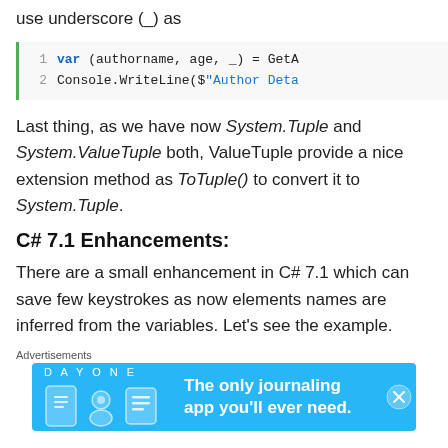use underscore (_) as
[Figure (screenshot): Code block with 2 lines: line 1: var (authorname, age, _) = GetA..., line 2: Console.WriteLine($"Author Deta...]
Last thing, as we have now System.Tuple and System.ValueTuple both, ValueTuple provide a nice extension method as ToTuple() to convert it to System.Tuple.
C# 7.1 Enhancements:
There are a small enhancement in C# 7.1 which can save few keystrokes as now elements names are inferred from the variables. Let's see the example.
Advertisements
[Figure (screenshot): Day One app advertisement banner: The only journaling app you'll ever need.]